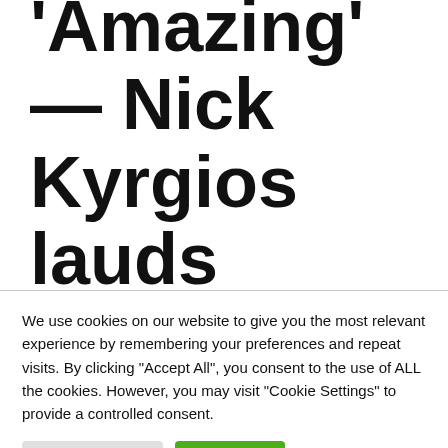'Amazing' — Nick Kyrgios lauds Roger Federer, Rafael Nadal, Novak Djokovic, Serena Williams
We use cookies on our website to give you the most relevant experience by remembering your preferences and repeat visits. By clicking "Accept All", you consent to the use of ALL the cookies. However, you may visit "Cookie Settings" to provide a controlled consent.